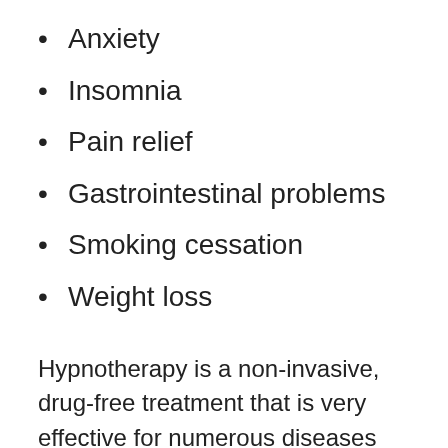Anxiety
Insomnia
Pain relief
Gastrointestinal problems
Smoking cessation
Weight loss
Hypnotherapy is a non-invasive, drug-free treatment that is very effective for numerous diseases and conditions. So if you are experiencing any of the conditions listed above,